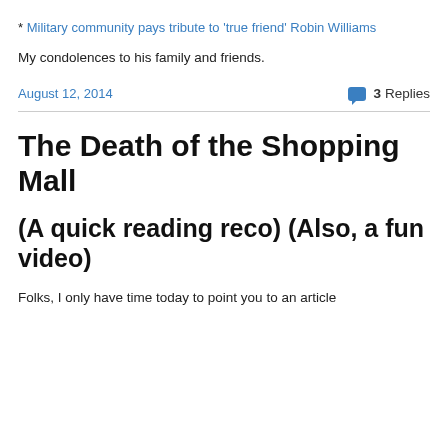* Military community pays tribute to 'true friend' Robin Williams
My condolences to his family and friends.
August 12, 2014   💬 3 Replies
The Death of the Shopping Mall
(A quick reading reco) (Also, a fun video)
Folks, I only have time today to point you to an article